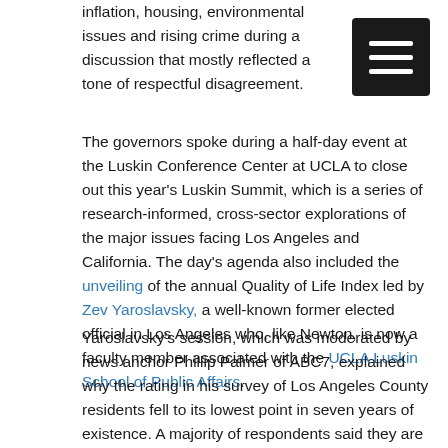inflation, housing, environmental issues and rising crime during a discussion that mostly reflected a tone of respectful disagreement.
The governors spoke during a half-day event at the Luskin Conference Center at UCLA to close out this year's Luskin Summit, which is a series of research-informed, cross-sector explorations of the major issues facing Los Angeles and California. The day's agenda also included the unveiling of the annual Quality of Life Index led by Zev Yaroslavsky, a well-known former elected official in Los Angeles who, like Newton, is now a faculty member associated with the UCLA Luskin School of Public Affairs.
Yaroslavsky's session, which was moderated by news anchor Phillip Palmer of ABC7, explained why the rating in his survey of Los Angeles County residents fell to its lowest point in seven years of existence. A majority of respondents said they are dissatisfied with the overall